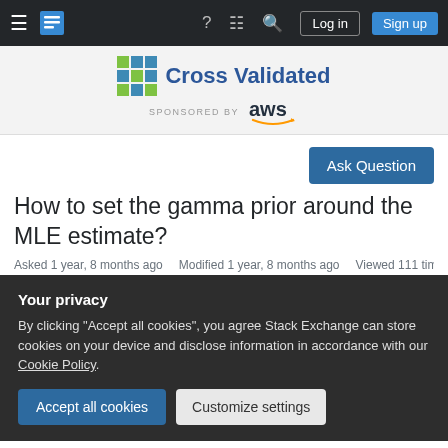Cross Validated — Stack Exchange Q&A site navigation bar
[Figure (logo): Cross Validated logo with colorful grid icon and text 'Cross Validated', sponsored by AWS]
Ask Question
How to set the gamma prior around the MLE estimate?
Asked 1 year, 8 months ago   Modified 1 year, 8 months ago   Viewed 111 times
Your privacy
By clicking "Accept all cookies", you agree Stack Exchange can store cookies on your device and disclose information in accordance with our Cookie Policy.
Accept all cookies   Customize settings